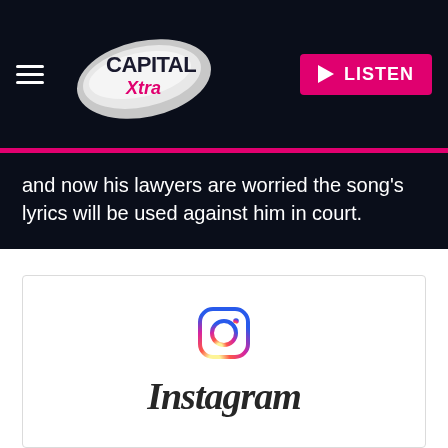Capital Xtra — LISTEN
and now his lawyers are worried the song's lyrics will be used against him in court.
[Figure (logo): Instagram logo with camera icon above the word Instagram in stylized italic font]